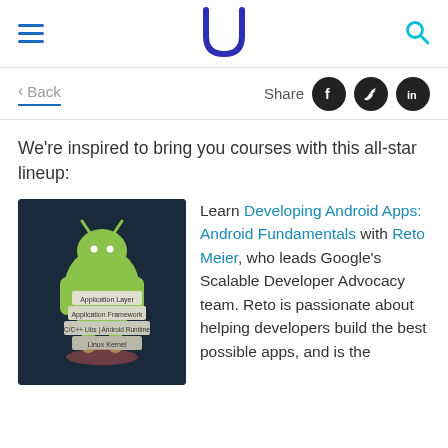Udacity navigation header with hamburger menu, logo, and search icon
< Back   Share
We're inspired to bring you courses with this all-star lineup:
[Figure (photo): Android mascot robot figurine holding a layered stack sign showing: Application Layer, Application Framework, C/C++ Libs | Android Runtime, Linux Kernel. Dark blue background.]
Learn Developing Android Apps: Android Fundamentals with Reto Meier, who leads Google's Scalable Developer Advocacy team. Reto is passionate about helping developers build the best possible apps, and is the